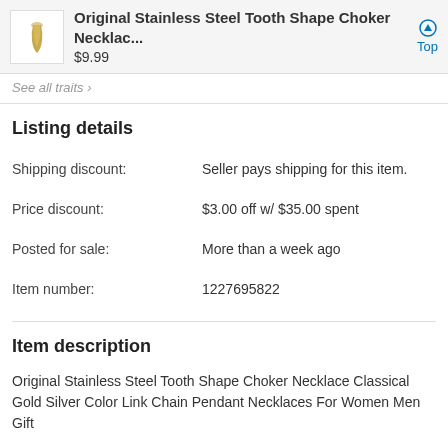Original Stainless Steel Tooth Shape Choker Necklac... $9.99
See all traits >
Listing details
| Field | Value |
| --- | --- |
| Shipping discount: | Seller pays shipping for this item. |
| Price discount: | $3.00 off w/ $35.00 spent |
| Posted for sale: | More than a week ago |
| Item number: | 1227695822 |
Item description
Original Stainless Steel Tooth Shape Choker Necklace Classical Gold Silver Color Link Chain Pendant Necklaces For Women Men Gift
Item Description
See full description >